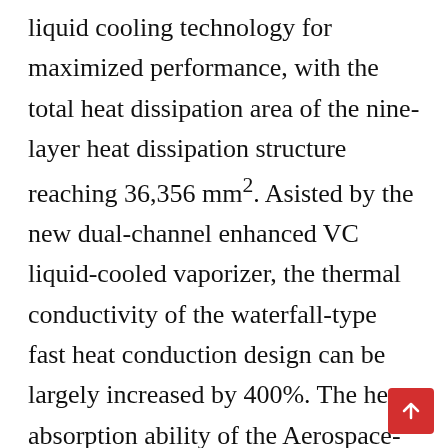liquid cooling technology for maximized performance, with the total heat dissipation area of the nine-layer heat dissipation structure reaching 36,356 mm². Asisted by the new dual-channel enhanced VC liquid-cooled vaporizer, the thermal conductivity of the waterfall-type fast heat conduction design can be largely increased by 400%. The heat absorption ability of the Aerospace-grade micro-nano-cavity graphene phase-change vapor chamber has been increased by 140%, and its thermal conductivity is 300 times better than before, fueling ZTE Axon 40 Ultra for its quick heat dissipation and smooth performance.